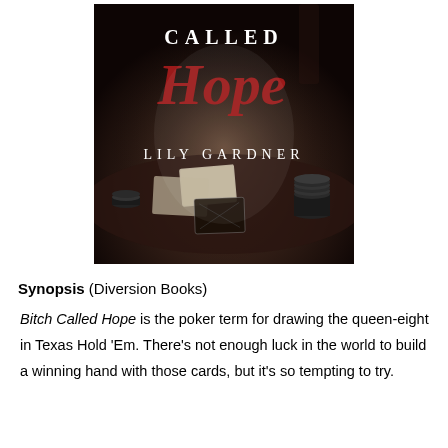[Figure (illustration): Book cover of 'Bitch Called Hope' by Lily Gardner. Dark, moody image showing a poker table with playing cards face down, poker chips stacked, and a dimly lit background. The title text shows 'CALLED Hope' with 'Hope' in red/crimson serif letters and 'LILY GARDNER' in white serif font at the bottom.]
Synopsis (Diversion Books)
Bitch Called Hope is the poker term for drawing the queen-eight in Texas Hold 'Em. There's not enough luck in the world to build a winning hand with those cards, but it's so tempting to try.